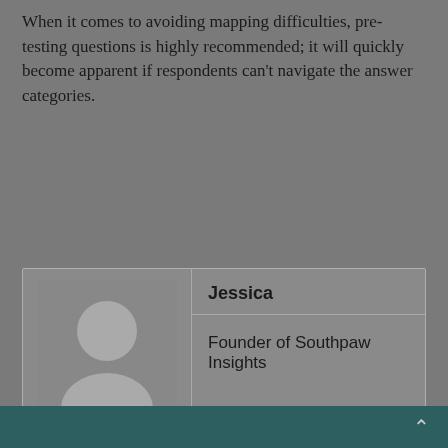When it comes to avoiding mapping difficulties, pre-testing questions is highly recommended; it will quickly become apparent if respondents can't navigate the answer categories.
[Figure (other): Author card with avatar placeholder image showing a generic person silhouette, name 'Jessica' in bold, and title 'Founder of Southpaw Insights']
^